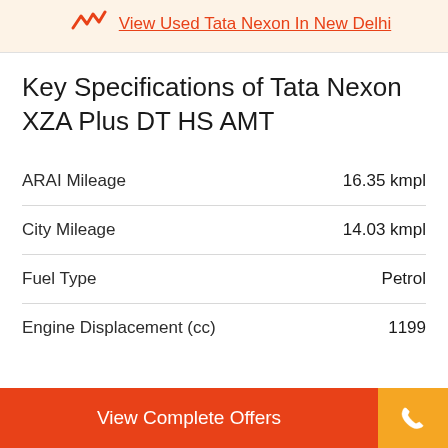View Used Tata Nexon In New Delhi
Key Specifications of Tata Nexon XZA Plus DT HS AMT
| Specification | Value |
| --- | --- |
| ARAI Mileage | 16.35 kmpl |
| City Mileage | 14.03 kmpl |
| Fuel Type | Petrol |
| Engine Displacement (cc) | 1199 |
View Complete Offers